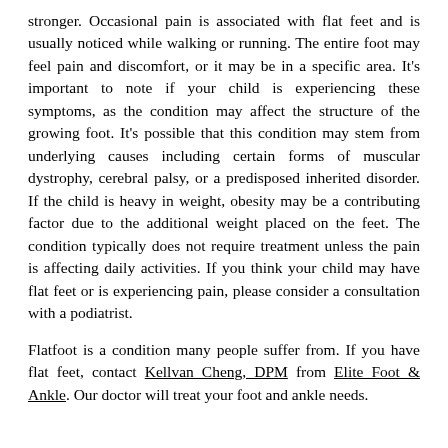stronger. Occasional pain is associated with flat feet and is usually noticed while walking or running. The entire foot may feel pain and discomfort, or it may be in a specific area. It's important to note if your child is experiencing these symptoms, as the condition may affect the structure of the growing foot. It's possible that this condition may stem from underlying causes including certain forms of muscular dystrophy, cerebral palsy, or a predisposed inherited disorder. If the child is heavy in weight, obesity may be a contributing factor due to the additional weight placed on the feet. The condition typically does not require treatment unless the pain is affecting daily activities. If you think your child may have flat feet or is experiencing pain, please consider a consultation with a podiatrist.
Flatfoot is a condition many people suffer from. If you have flat feet, contact Kellvan Cheng, DPM from Elite Foot & Ankle. Our doctor will treat your foot and ankle needs.